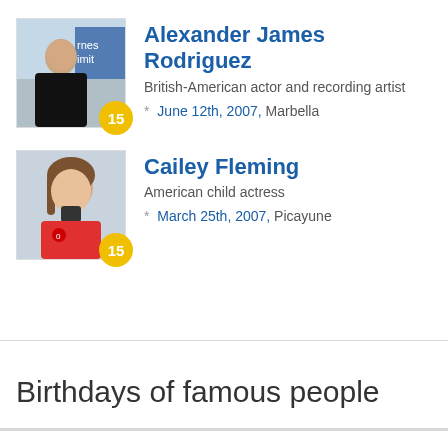Alexander James Rodriguez — British-American actor and recording artist — June 12th, 2007, Marbella — badge: 15
Cailey Fleming — American child actress — March 25th, 2007, Picayune — badge: 15
Birthdays of famous people